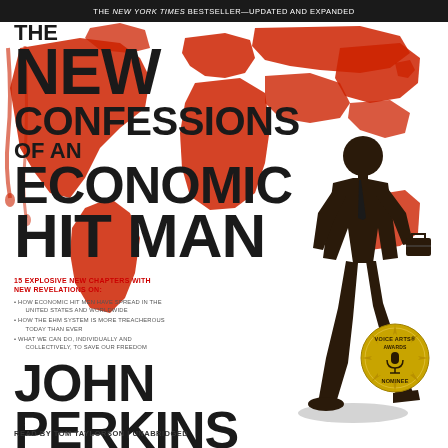[Figure (illustration): Book cover for 'The New Confessions of an Economic Hit Man' by John Perkins. Red world map background on white, black silhouette of a man in a suit walking, Voice Arts Awards Nominee badge. Top black banner reads 'THE NEW YORK TIMES BESTSELLER—UPDATED AND EXPANDED'. Bullet points list 15 new chapters on economic hit men. Author name John Perkins at bottom. Read by Tom Taylorson, Unabridged.]